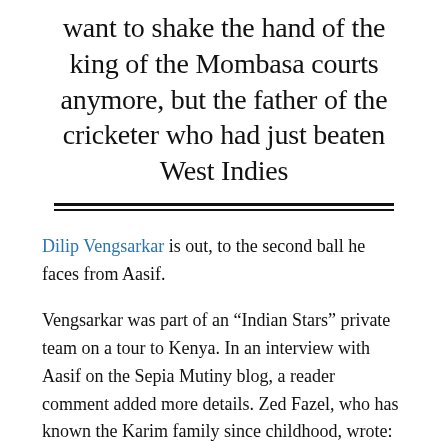want to shake the hand of the king of the Mombasa courts anymore, but the father of the cricketer who had just beaten West Indies
Dilip Vengsarkar is out, to the second ball he faces from Aasif.
Vengsarkar was part of an “Indian Stars” private team on a tour to Kenya. In an interview with Aasif on the Sepia Mutiny blog, a reader comment added more details. Zed Fazel, who has known the Karim family since childhood, wrote: “Playing for